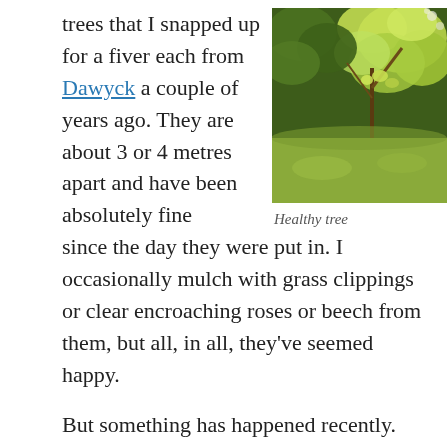trees that I snapped up for a fiver each from Dawyck a couple of years ago. They are about 3 or 4 metres apart and have been absolutely fine since the day they were put in. I occasionally mulch with grass clippings or clear encroaching roses or beech from them, but all, in all, they've seemed happy.
[Figure (photo): Photograph of a healthy tree with bright green/yellow-green leaves against a background of garden greenery and grass.]
Healthy tree
But something has happened recently. The one on the right (click for a bigger picture) looks